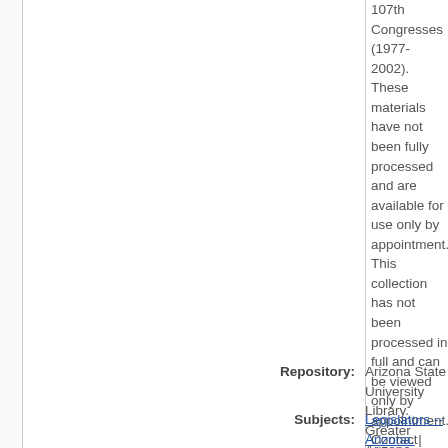107th Congresses (1977-2002). These materials have not been fully processed and are available for use only by appointment. This collection has not been processed in full and can be viewed only by appointment. Contact Archives and Special Collections for more information.
Repository: Arizona State University Library. Greater Arizona Collection
Subjects: Legislators -- Arizona. |